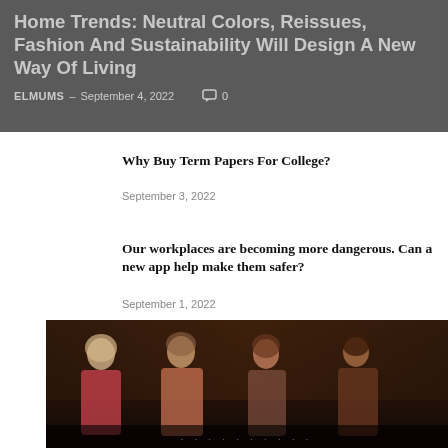Home Trends: Neutral Colors, Reissues, Fashion And Sustainability Will Design A New Way Of Living
ELMUMS – September 4, 2022  0
Why Buy Term Papers For College?
September 3, 2022
Our workplaces are becoming more dangerous. Can a new app help make them safer?
September 1, 2022
Essay Writing Project: Value of Planning
August 31, 2022
[Figure (photo): Dark-toned photo of four women standing together, likely a TV show or entertainment scene, with a caption bar at the bottom]